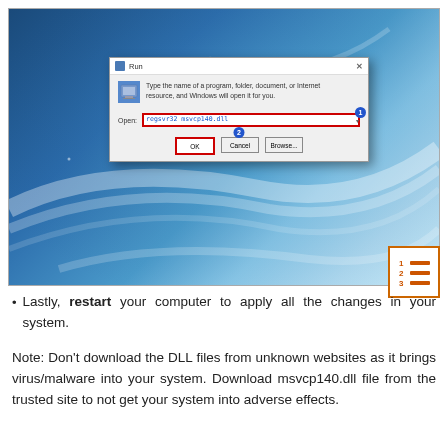[Figure (screenshot): Windows Run dialog box on a blue gradient Windows desktop background. The Run dialog shows 'regsvr32 msvcp140.dll' in the Open field with a red border (step 1 badge). The OK button has a red border (step 2 badge). Cancel and Browse buttons also visible.]
Lastly, restart your computer to apply all the changes in your system.
Note: Don't download the DLL files from unknown websites as it brings virus/malware into your system. Download msvcp140.dll file from the trusted site to not get your system into adverse effects.